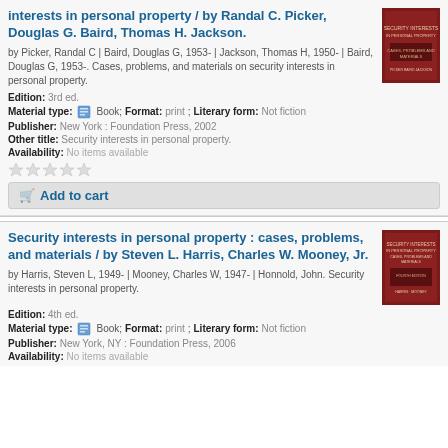interests in personal property / by Randal C. Picker, Douglas G. Baird, Thomas H. Jackson.
by Picker, Randal C | Baird, Douglas G, 1953- | Jackson, Thomas H, 1950- | Baird, Douglas G, 1953-. Cases, problems, and materials on security interests in personal property.
Edition: 3rd ed.
Material type: Book; Format: print ; Literary form: Not fiction
Publisher: New York : Foundation Press, 2002
Other title: Security interests in personal property.
Availability: No items available
Security interests in personal property : cases, problems, and materials / by Steven L. Harris, Charles W. Mooney, Jr.
by Harris, Steven L, 1949- | Mooney, Charles W, 1947- | Honnold, John. Security interests in personal property.
Edition: 4th ed.
Material type: Book; Format: print ; Literary form: Not fiction
Publisher: New York, NY : Foundation Press, 2006
Availability: No items available